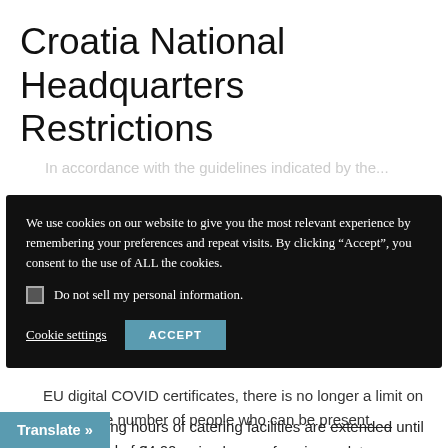Croatia National Headquarters Restrictions
We use cookies on our website to give you the most relevant experience by remembering your preferences and repeat visits. By clicking “Accept”, you consent to the use of ALL the cookies.
Do not sell my personal information.
Cookie settings
ACCEPT
EU digital COVID certificates, there is no longer a limit on the number of people who can be present.
The working hours of catering facilities are extended until 02:00 instead of 24:00.
the opening hours of casinos, slot
Translate »